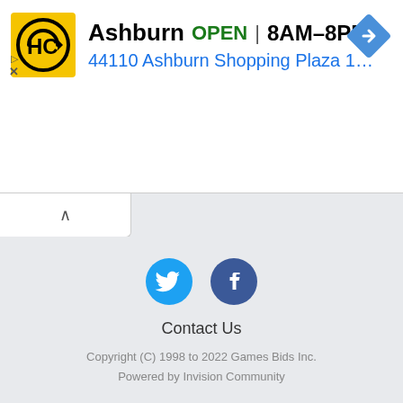[Figure (infographic): Advertisement banner for Haircut store. Yellow square logo with HC letters and circular arrow design. Text: Ashburn OPEN 8AM–8PM, 44110 Ashburn Shopping Plaza 190, A... Blue diamond navigation icon on right. Play and X controls on left bottom.]
[Figure (other): Collapsed panel toggle button with upward chevron arrow]
[Figure (infographic): Twitter bird icon (cyan circle) and Facebook f icon (dark blue circle) social media buttons]
Contact Us
Copyright (C) 1998 to 2022 Games Bids Inc.
Powered by Invision Community